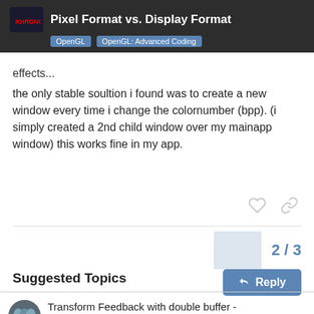Pixel Format vs. Display Format | OpenGL | OpenGL: Advanced Coding
effects...
the only stable soultion i found was to create a new window every time i change the colornumber (bpp). (i simply created a 2nd child window over my mainapp window) this works fine in my app.
2 / 3
Reply
Suggested Topics
Transform Feedback with double buffer - Garbage data?
OpenGL: Advanced C…
Sep 2021
11
Shadow samplers vs. regular
4